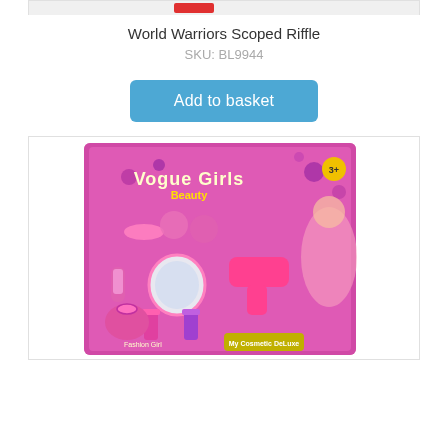[Figure (photo): Top portion of a product image (partially visible, cropped at top) with a red element visible]
World Warriors Scoped Riffle
SKU: BL9944
Add to basket
[Figure (photo): Vogue Girls Beauty toy set product packaging - a girls cosmetics deluxe playset with hair dryer, mirror, handbag, nail polish, and accessories on a pink and purple background. Ages 3+. Fashion Girl branding.]